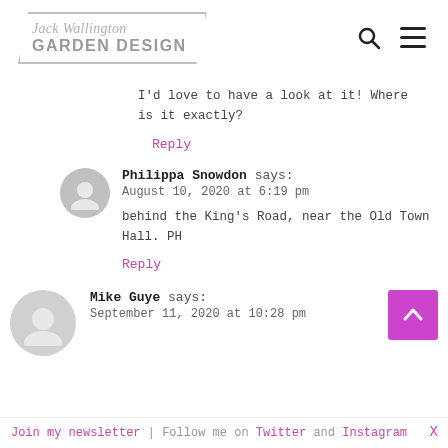Jack Wallington GARDEN DESIGN
I'd love to have a look at it! Where is it exactly?
Reply
Philippa Snowdon says: August 10, 2020 at 6:19 pm
behind the King's Road, near the Old Town Hall. PH
Reply
Mike Guye says: September 11, 2020 at 10:28 pm
Join my newsletter | Follow me on Twitter and Instagram